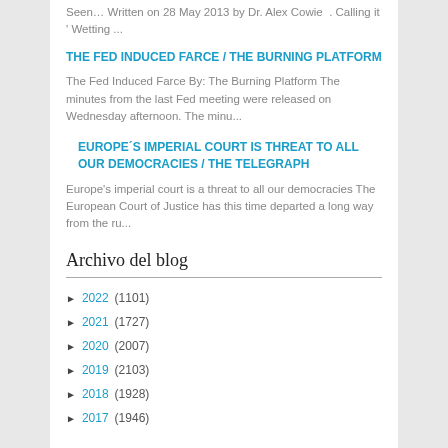Seen… Written on 28 May 2013 by Dr. Alex Cowie . Calling it ' Wetting ...
THE FED INDUCED FARCE / THE BURNING PLATFORM
The Fed Induced Farce By: The Burning Platform The minutes from the last Fed meeting were released on Wednesday afternoon. The minu...
EUROPE´S IMPERIAL COURT IS THREAT TO ALL OUR DEMOCRACIES / THE TELEGRAPH
Europe's imperial court is a threat to all our democracies The European Court of Justice has this time departed a long way from the ru...
Archivo del blog
► 2022 (1101)
► 2021 (1727)
► 2020 (2007)
► 2019 (2103)
► 2018 (1928)
► 2017 (1946)